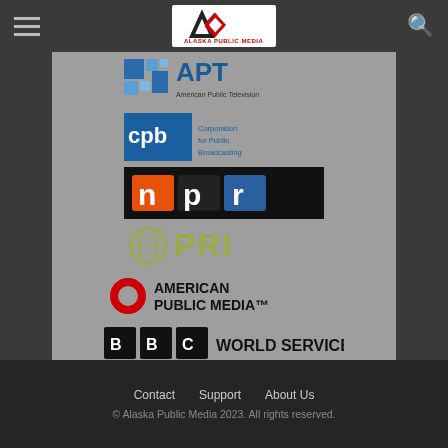Alaska Public Media - navigation header with hamburger menu and search icon
[Figure (logo): Alaska Public Media logo - AK letters with red and black, text ALASKA PUBLIC MEDIA below]
[Figure (logo): APT American Public Television logo - blue mosaic design with APT text]
[Figure (logo): CPB Corporation for Public Broadcasting logo - blue square cpb letters with text]
[Figure (logo): NPR logo - orange n, black p, blue r on dark background]
[Figure (logo): PRI logo - globe icon with quotation marks and PRI text in olive/yellow-green]
[Figure (logo): American Public Media logo - red circle O with AMERICAN PUBLIC MEDIA text]
[Figure (logo): BBC WORLD SERVICE logo - BBC in white boxes with WORLD SERVICE text]
Contact   Support   About Us
© Alaska Public Media 2023. All rights reserved.